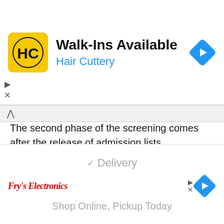[Figure (other): Hair Cuttery advertisement banner: HC logo in yellow square, Walk-Ins Available title, Hair Cuttery subtitle in blue, navigation diamond icon]
The second phase of the screening comes after the release of admission lists. Candidates who have merited admission will be invited for another screening exercise.
Items to Bring for the Screening
Original copies of their educational qualifications (Statements of Results/Certificates).
N/B: Cases of awaiting results will NOT
[Figure (other): Fry's electronics advertisement banner: Delivery checkbox, Shop Online Pickup Today text, navigation diamond icon]